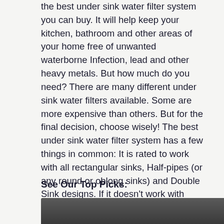the best under sink water filter system you can buy. It will help keep your kitchen, bathroom and other areas of your home free of unwanted waterborne Infection, lead and other heavy metals. But how much do you need? There are many different under sink water filters available. Some are more expensive than others. But for the final decision, choose wisely! The best under sink water filter system has a few things in common: It is rated to work with all rectangular sinks, Half-pipes (or any round or oblong sinks) and Double Sink designs. If it doesn't work with other sinks, it will not work with your whole house! Here's why you need a under sink water filter system if you're going to have one:
See Our Top Picks:
[Figure (photo): Dark image at the bottom of the page, partially visible]